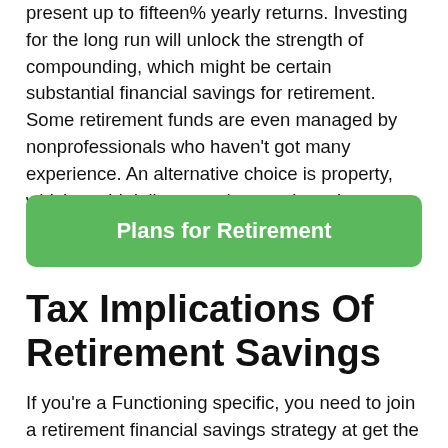present up to fifteen% yearly returns. Investing for the long run will unlock the strength of compounding, which might be certain substantial financial savings for retirement. Some retirement funds are even managed by nonprofessionals who haven't got many experience. An alternative choice is property, which could deliver passive earnings. In addition, it really is tax-economical.
Plans for Retirement
Tax Implications Of Retirement Savings
If you're a Functioning specific, you need to join a retirement financial savings strategy at get the job done. Most for-revenue companies offer 401(k) retirement ideas. To take